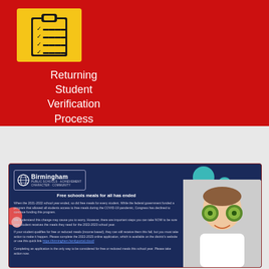[Figure (illustration): Clipboard icon with checklist on a yellow background square]
Returning Student Verification Process
[Figure (infographic): Birmingham Public Schools flyer: 'Free schools meals for all has ended' - dark blue background with Birmingham logo, decorative circles, text about end of free meals program and how to apply for 2022-2023, with photo of child holding kiwi fruits over eyes]